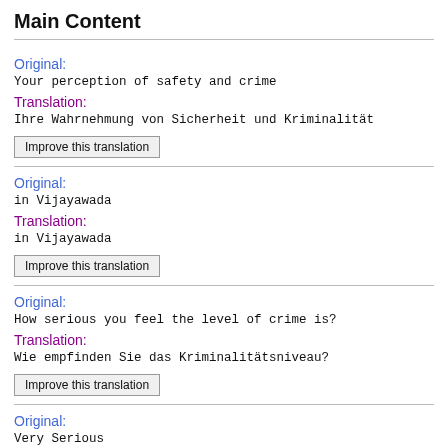Main Content
Original:
Your perception of safety and crime
Translation:
Ihre Wahrnehmung von Sicherheit und Kriminalität
Improve this translation
Original:
in Vijayawada
Translation:
in Vijayawada
Improve this translation
Original:
How serious you feel the level of crime is?
Translation:
Wie empfinden Sie das Kriminalitätsniveau?
Improve this translation
Original:
Very Serious